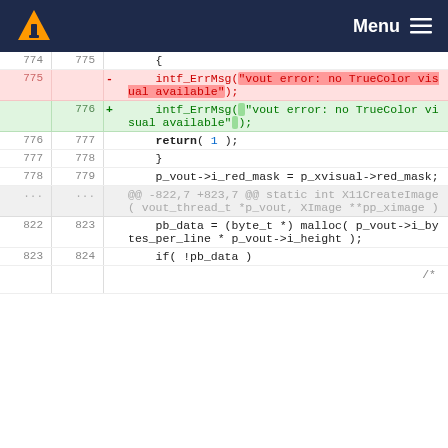VLC Menu
[Figure (screenshot): Code diff view showing changes to intf_ErrMsg call in VLC source code, lines 774-824]
| old | new | sign | code |
| --- | --- | --- | --- |
| 774 | 775 |  |     { |
| 775 |  | - |     intf_ErrMsg("vout error: no TrueColor visual available"); |
|  | 776 | + |     intf_ErrMsg( "vout error: no TrueColor visual available" ); |
| 776 | 777 |  |     return( 1 ); |
| 777 | 778 |  |     } |
| 778 | 779 |  |     p_vout->i_red_mask = p_xvisual->red_mask; |
| ... | ... |  | @@ -822,7 +823,7 @@ static int X11CreateImage( vout_thread_t *p_vout, XImage **pp_ximage ) |
| 822 | 823 |  |     pb_data = (byte_t *) malloc( p_vout->i_bytes_per_line * p_vout->i_height ); |
| 823 | 824 |  |     if( !pb_data ) |
|  |  |  | /* |